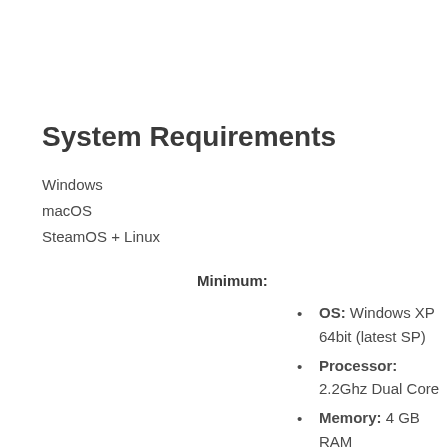System Requirements
Windows
macOS
SteamOS + Linux
Minimum:
OS: Windows XP 64bit (latest SP)
Processor: 2.2Ghz Dual Core
Memory: 4 GB RAM
Graphics: 1 GB Dedicated VRAM